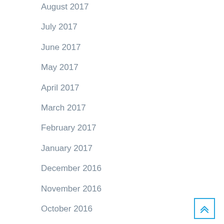August 2017
July 2017
June 2017
May 2017
April 2017
March 2017
February 2017
January 2017
December 2016
November 2016
October 2016
September 2016